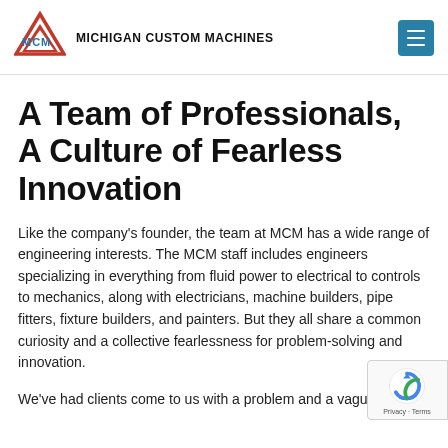MCM — MICHIGAN CUSTOM MACHINES
A Team of Professionals, A Culture of Fearless Innovation
Like the company's founder, the team at MCM has a wide range of engineering interests. The MCM staff includes engineers specializing in everything from fluid power to electrical to controls to mechanics, along with electricians, machine builders, pipe fitters, fixture builders, and painters. But they all share a common curiosity and a collective fearlessness for problem-solving and innovation.
We've had clients come to us with a problem and a vague drawing